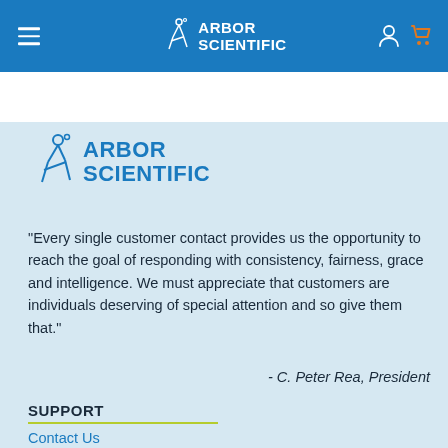Arbor Scientific — navigation bar with hamburger menu, logo, user and cart icons
[Figure (screenshot): Arbor Scientific website navigation bar with blue background, hamburger menu on left, centered Arbor Scientific logo, user and cart icons on right]
[Figure (logo): Arbor Scientific logo with figure icon and blue text ARBOR SCIENTIFIC]
"Every single customer contact provides us the opportunity to reach the goal of responding with consistency, fairness, grace and intelligence. We must appreciate that customers are individuals deserving of special attention and so give them that."
- C. Peter Rea, President
SUPPORT
Contact Us